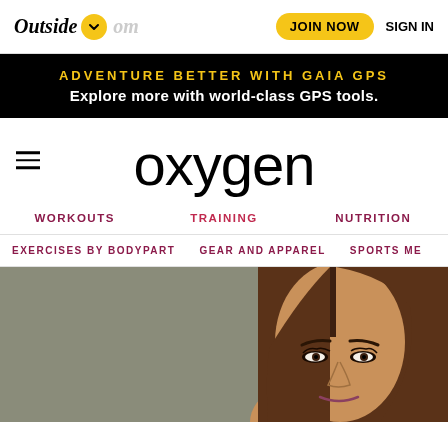Outside | JOIN NOW | SIGN IN
ADVENTURE BETTER WITH GAIA GPS
Explore more with world-class GPS tools.
oxygen
WORKOUTS   TRAINING   NUTRITION
EXERCISES BY BODYPART   GEAR AND APPAREL   SPORTS ME
[Figure (photo): Portrait photo of a woman with straight brown hair against a khaki/olive background, cropped to show face and top of head]